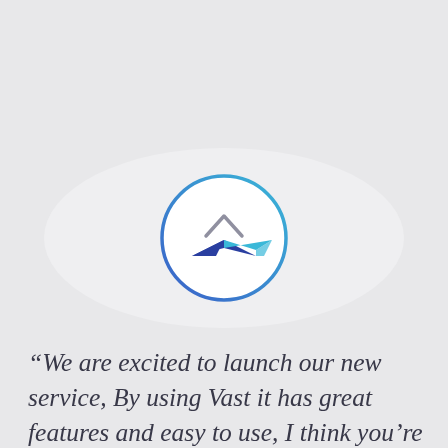[Figure (logo): Circular logo with a blue-to-cyan gradient circle border and a paper boat/arrow icon inside: a dark blue folded boat shape at the bottom with a cyan arrow pointing right, and a gray inverted V (caret) above it.]
“We are excited to launch our new service, By using Vast it has great features and easy to use, I think you’re all about to make me happy.”